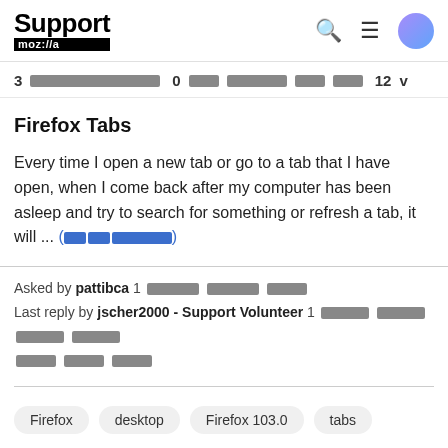Support mozilla// [search] [menu] [avatar]
3 [redacted] 0 [redacted] 12 v
Firefox Tabs
Every time I open a new tab or go to a tab that I have open, when I come back after my computer has been asleep and try to search for something or refresh a tab, it will ... (read more)
Asked by pattibca 1 [redacted] Last reply by jscher2000 - Support Volunteer 1 [redacted]
Firefox  desktop  Firefox 103.0  tabs